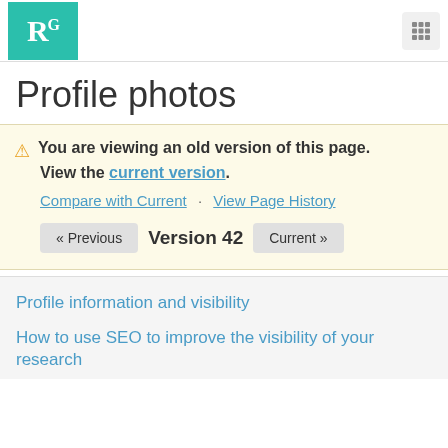RG [logo] [grid icon]
Profile photos
⚠ You are viewing an old version of this page. View the current version.
Compare with Current · View Page History
« Previous   Version 42   Current »
Profile information and visibility
How to use SEO to improve the visibility of your research